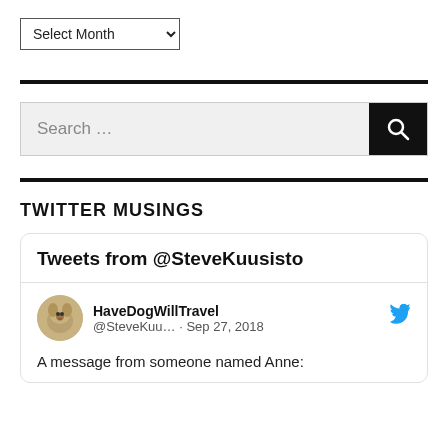[Figure (screenshot): Dropdown selector showing 'Select Month' with a chevron arrow]
[Figure (screenshot): Search bar with 'Search ...' placeholder text and a black search button with magnifying glass icon]
TWITTER MUSINGS
[Figure (screenshot): Twitter widget card showing 'Tweets from @SteveKuusisto' header, with a tweet from HaveDogWillTravel (@SteveKuu...) dated Sep 27, 2018, beginning 'A message from someone named Anne:']